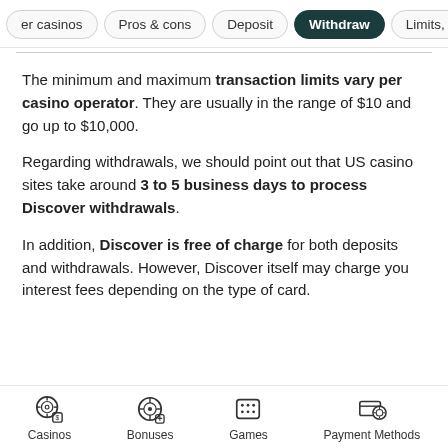er casinos | Pros & cons | Deposit | Withdraw | Limits, fees a...
The minimum and maximum transaction limits vary per casino operator. They are usually in the range of $10 and go up to $10,000.
Regarding withdrawals, we should point out that US casino sites take around 3 to 5 business days to process Discover withdrawals.
In addition, Discover is free of charge for both deposits and withdrawals. However, Discover itself may charge you interest fees depending on the type of card.
Casinos | Bonuses | Games | Payment Methods